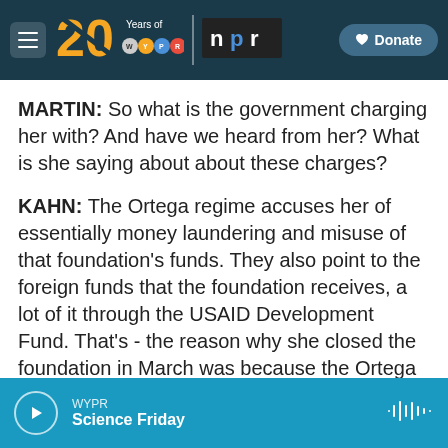[Figure (screenshot): WYPR 20 Years logo with NPR logo and Donate button on dark navy navigation bar]
MARTIN: So what is the government charging her with? And have we heard from her? What is she saying about about these charges?
KAHN: The Ortega regime accuses her of essentially money laundering and misuse of that foundation's funds. They also point to the foreign funds that the foundation receives, a lot of it through the USAID Development Fund. That's - the reason why she closed the foundation in March was because the Ortega regime passed this foreign registry law. And if you receive money from abroad,
WYPR  Science Friday